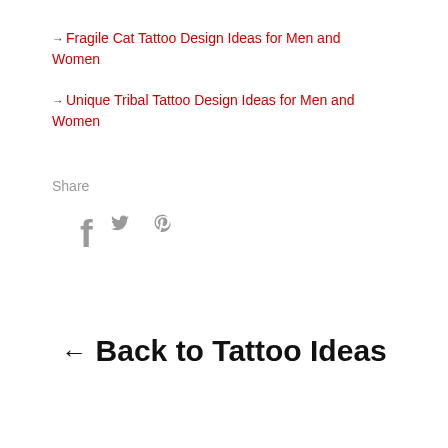→ Fragile Cat Tattoo Design Ideas for Men and Women
→ Unique Tribal Tattoo Design Ideas for Men and Women
Share
[Figure (infographic): Social share icons: Facebook (f), Twitter (bird), Pinterest (p) in gray]
← Back to Tattoo Ideas